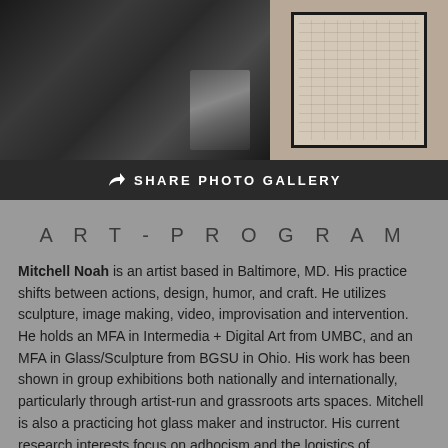[Figure (photo): Dark photograph on the left side showing a partial figure or portrait in low light]
[Figure (photo): Framed artwork on a light beige background showing a textured, grid-like drawing or map in a dark frame]
SHARE PHOTO GALLERY
ART-PROGRAM
Mitchell Noah is an artist based in Baltimore, MD. His practice shifts between actions, design, humor, and craft. He utilizes sculpture, image making, video, improvisation and intervention. He holds an MFA in Intermedia + Digital Art from UMBC, and an MFA in Glass/Sculpture from BGSU in Ohio. His work has been shown in group exhibitions both nationally and internationally, particularly through artist-run and grassroots arts spaces. Mitchell is also a practicing hot glass maker and instructor. His current research interests focus on adhocism and the logistics of producing art during “late stage”